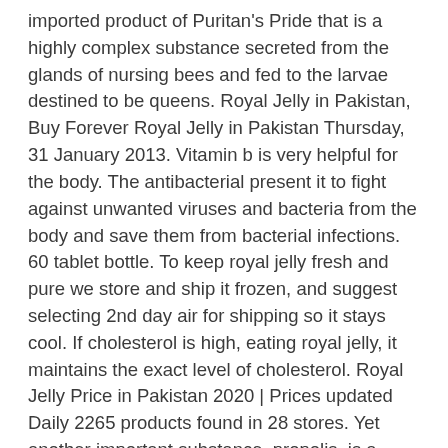imported product of Puritan's Pride that is a highly complex substance secreted from the glands of nursing bees and fed to the larvae destined to be queens. Royal Jelly in Pakistan, Buy Forever Royal Jelly in Pakistan Thursday, 31 January 2013. Vitamin b is very helpful for the body. The antibacterial present it to fight against unwanted viruses and bacteria from the body and save them from bacterial infections. 60 tablet bottle. To keep royal jelly fresh and pure we store and ship it frozen, and suggest selecting 2nd day air for shipping so it stays cool. If cholesterol is high, eating royal jelly, it maintains the exact level of cholesterol. Royal Jelly Price in Pakistan 2020 | Prices updated Daily 2265 products found in 28 stores. Yet another important substance, propolis, is a sticky resin collected by bees. Royal Jelly is an extremely nutritious substance produced by bees to feed the queen bee and young bees. Sign-up to get notified about sales and new products. 193 Fresh Royal Jelly Suppliers &